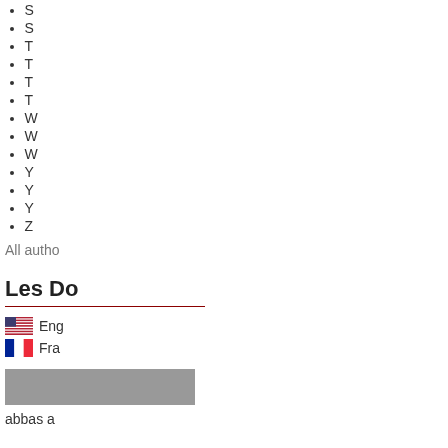S
S
T
T
T
T
W
W
W
Y
Y
Y
Z
All autho
Les Do
Eng
Fra
abbas a
Archiv
Septemb